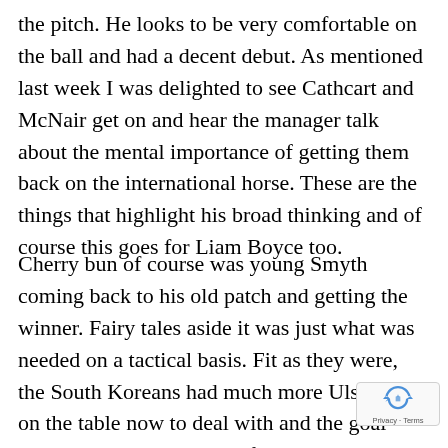the pitch. He looks to be very comfortable on the ball and had a decent debut. As mentioned last week I was delighted to see Cathcart and McNair get on and hear the manager talk about the mental importance of getting them back on the international horse. These are the things that highlight his broad thinking and of course this goes for Liam Boyce too.
Cherry bun of course was young Smyth coming back to his old patch and getting the winner. Fairy tales aside it was just what was needed on a tactical basis. Fit as they were, the South Koreans had much more Ulster beef on the table now to deal with and the goal Smyth scored as a result of Washington's strength showed his game to a tee. The dart and angle the agile Smyth engineered gave him the space to inflict and we have several forwards alongside whom he will do plenty of